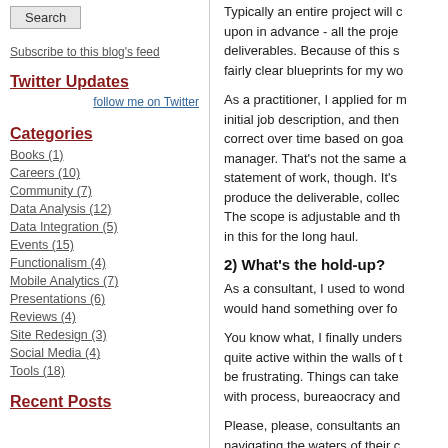Search (button)
Subscribe to this blog's feed
Twitter Updates
follow me on Twitter
Categories
Books (1)
Careers (10)
Community (7)
Data Analysis (12)
Data Integration (5)
Events (15)
Functionalism (4)
Mobile Analytics (7)
Presentations (6)
Reviews (4)
Site Redesign (3)
Social Media (4)
Tools (18)
Recent Posts
Typically an entire project will c... upon in advance - all the proje... deliverables. Because of this s... fairly clear blueprints for my wo...
As a practitioner, I applied for m... initial job description, and then... correct over time based on goa... manager. That's not the same a... statement of work, though. It's... produce the deliverable, collec... The scope is adjustable and th... in this for the long haul.
2) What's the hold-up?
As a consultant, I used to wond... would hand something over fo...
You know what, I finally unders... quite active within the walls of t... be frustrating. Things can take... with process, bureaocracy and...
Please, please, consultants an... navigating the waters of their c...
3) Meetings upon meetings u...
When I started my job as a pra... happily accepted them - how fl... taking lunch meetings, and ear... and then aaaaah, complete cal...